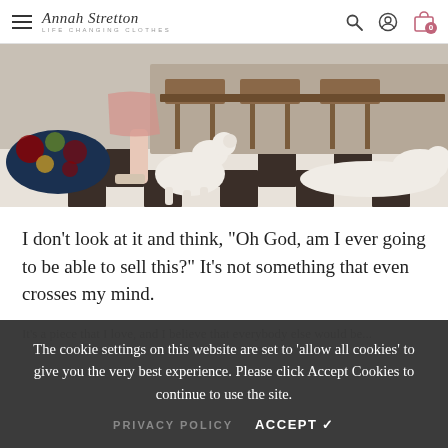Annah Stretton – Life Changing Clothes
[Figure (photo): Interior scene with two white dogs on a black and white checkered floor, with wooden chairs and a floral ottoman visible.]
I don't look at it and think, "Oh God, am I ever going to be able to sell this?" It's not something that even crosses my mind.
The cookie settings on this website are set to 'allow all cookies' to give you the very best experience. Please click Accept Cookies to continue to use the site.
PRIVACY POLICY   ACCEPT ✓